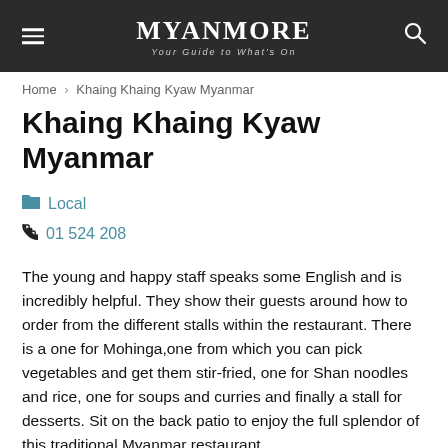MYANMORE — Your Guide to What's On
Home › Khaing Khaing Kyaw Myanmar
Khaing Khaing Kyaw Myanmar
Local
01 524 208
The young and happy staff speaks some English and is incredibly helpful. They show their guests around how to order from the different stalls within the restaurant. There is a one for Mohinga,one from which you can pick vegetables and get them stir-fried, one for Shan noodles and rice, one for soups and curries and finally a stall for desserts. Sit on the back patio to enjoy the full splendor of this traditional Myanmar restaurant.